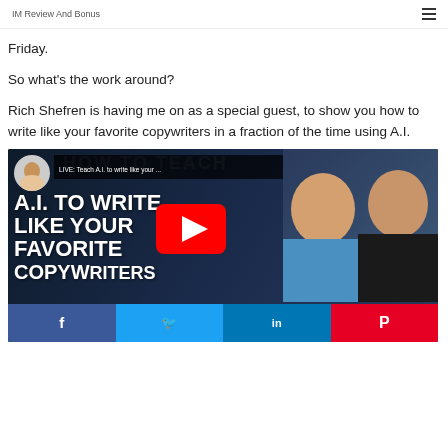IM Review And Bonus
Friday.
So what’s the work around?
Rich Shefren is having me on as a special guest, to show you how to write like your favorite copywriters in a fraction of the time using A.I.
[Figure (screenshot): YouTube video thumbnail showing two men and text 'A.I. TO WRITE LIKE YOUR FAVORITE COPYWRITERS' with YouTube play button and social share bar (Facebook, Twitter, LinkedIn, Pinterest)]